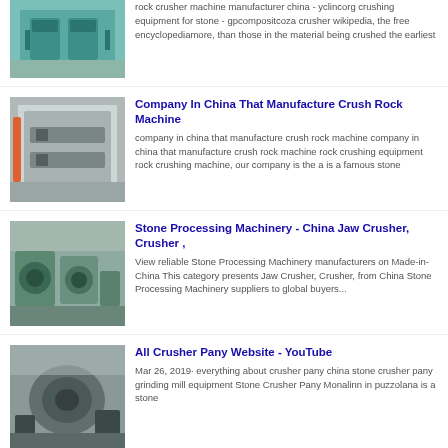[Figure (photo): Partial view of green industrial rock crusher machine]
rock crusher machine manufacturer china - yclincorg crushing equipment for stone - gpcompositcoza crusher wikipedia, the free encyclopediamore, than those in the material being crushed the earliest
[Figure (photo): White industrial electrical cabinet or control box]
Company In China That Manufacture Crush Rock Machine
company in china that manufacture crush rock machine company in china that manufacture crush rock machine rock crushing equipment rock crushing machine, our company is the a is a famous stone
[Figure (photo): Green stone processing machinery / jaw crusher equipment in a factory]
Stone Processing Machinery - China Jaw Crusher, Crusher ,
View reliable Stone Processing Machinery manufacturers on Made-in-China This category presents Jaw Crusher, Crusher, from China Stone Processing Machinery suppliers to global buyers...
[Figure (photo): Industrial crusher machinery in a factory setting]
All Crusher Pany Website - YouTube
Mar 26, 2019· everything about crusher pany china stone crusher pany grinding mill equipment Stone Crusher Pany Monalinn in puzzolana is a stone